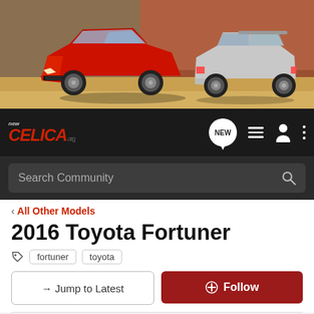[Figure (photo): Banner showing two Toyota Celica cars — a red one facing left and a silver one showing rear, on a desert road with orange/brown wall background]
[Figure (screenshot): NewCelica.org forum navigation bar with logo, NEW bubble, list icon, user icon, and dots menu]
Search Community
< All Other Models
2016 Toyota Fortuner
fortuner  toyota
→ Jump to Latest
+ Follow
1 - 9 of 9 Posts
Motor · Administrator